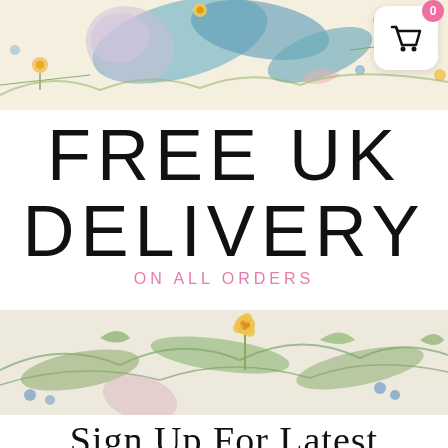[Figure (illustration): Watercolor floral banner at the top with teal leaves, yellow and pink flowers on a cream background]
[Figure (illustration): Shopping cart widget with pink badge showing 0, white rounded square background, black basket icon]
FREE UK DELIVERY
ON ALL ORDERS
[Figure (illustration): Watercolor floral banner at the bottom with green leaves, yellow and blue flowers on a cream background]
Sign Up For Latest